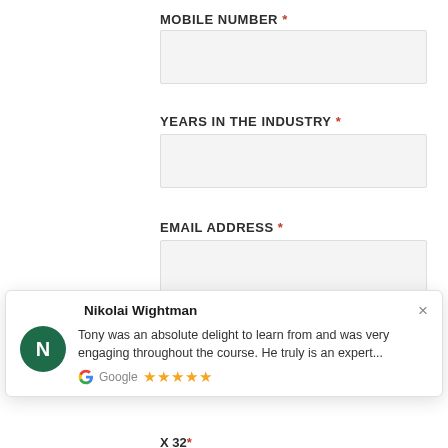MOBILE NUMBER *
YEARS IN THE INDUSTRY *
EMAIL ADDRESS *
[Figure (screenshot): Web form screenshot showing three fields: MOBILE NUMBER, YEARS IN THE INDUSTRY, and EMAIL ADDRESS, each with a light gray input box. A popup review card overlays the bottom showing 'Nikolai Wightman' with a green N avatar, a Google review quote, 5 gold stars, and a close X button.]
X 32 *